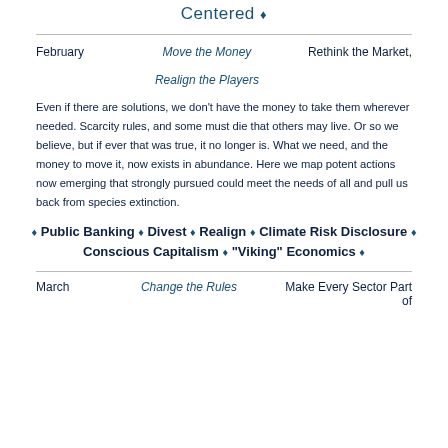Centered ♦
February    Move the Money    Rethink the Market, Realign the Players
Even if there are solutions, we don't have the money to take them wherever needed. Scarcity rules, and some must die that others may live. Or so we believe, but if ever that was true, it no longer is. What we need, and the money to move it, now exists in abundance. Here we map potent actions now emerging that strongly pursued could meet the needs of all and pull us back from species extinction.
♦ Public Banking ♦ Divest ♦ Realign ♦ Climate Risk Disclosure ♦ Conscious Capitalism ♦ "Viking" Economics ♦
March    Change the Rules    Make Every Sector Part of